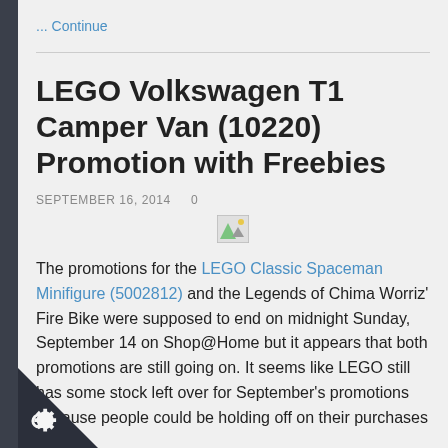... Continue
LEGO Volkswagen T1 Camper Van (10220) Promotion with Freebies
SEPTEMBER 16, 2014   0
[Figure (photo): Broken image placeholder icon]
The promotions for the LEGO Classic Spaceman Minifigure (5002812) and the Legends of Chima Worriz' Fire Bike were supposed to end on midnight Sunday, September 14 on Shop@Home but it appears that both promotions are still going on. It seems like LEGO still has some stock left over for September's promotions because people could be holding off on their purchases